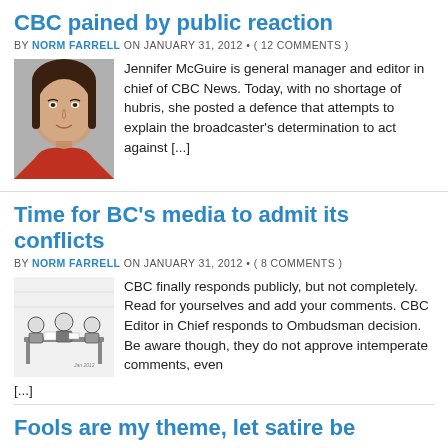CBC pained by public reaction
BY NORM FARRELL ON JANUARY 31, 2012 · ( 12 COMMENTS )
[Figure (photo): Portrait photo of Jennifer McGuire, a woman with dark hair wearing a red jacket]
Jennifer McGuire is general manager and editor in chief of CBC News. Today, with no shortage of hubris, she posted a defence that attempts to explain the broadcaster's determination to act against [...]
Time for BC's media to admit its conflicts
BY NORM FARRELL ON JANUARY 31, 2012 · ( 8 COMMENTS )
[Figure (illustration): Black and white cartoon illustration showing people sitting at a desk/table in a meeting]
CBC finally responds publicly, but not completely. Read for yourselves and add your comments. CBC Editor in Chief responds to Ombudsman decision. Be aware though, they do not approve intemperate comments, even [...]
Fools are my theme, let satire be